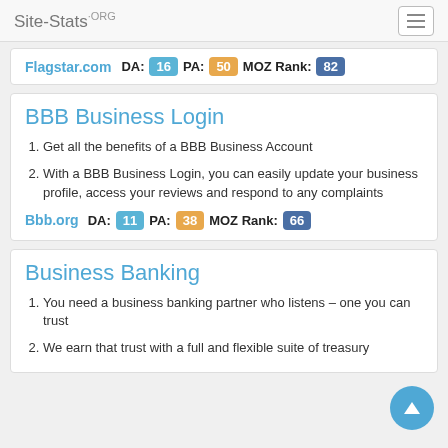Site-Stats.ORG
Flagstar.com  DA: 16  PA: 50  MOZ Rank: 82
BBB Business Login
Get all the benefits of a BBB Business Account
With a BBB Business Login, you can easily update your business profile, access your reviews and respond to any complaints
Bbb.org  DA: 11  PA: 38  MOZ Rank: 66
Business Banking
You need a business banking partner who listens – one you can trust
We earn that trust with a full and flexible suite of treasury